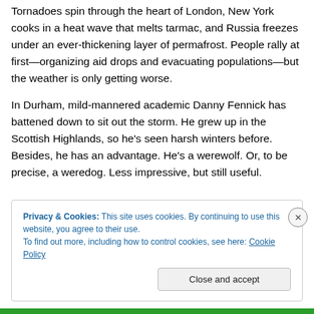Tornadoes spin through the heart of London, New York cooks in a heat wave that melts tarmac, and Russia freezes under an ever-thickening layer of permafrost. People rally at first—organizing aid drops and evacuating populations—but the weather is only getting worse.
In Durham, mild-mannered academic Danny Fennick has battened down to sit out the storm. He grew up in the Scottish Highlands, so he's seen harsh winters before. Besides, he has an advantage. He's a werewolf. Or, to be precise, a weredog. Less impressive, but still useful.
Privacy & Cookies: This site uses cookies. By continuing to use this website, you agree to their use. To find out more, including how to control cookies, see here: Cookie Policy